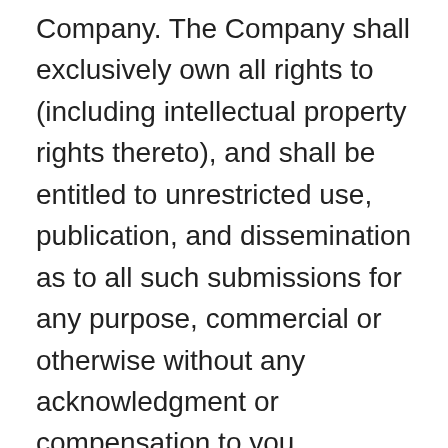Company. The Company shall exclusively own all rights to (including intellectual property rights thereto), and shall be entitled to unrestricted use, publication, and dissemination as to all such submissions for any purpose, commercial or otherwise without any acknowledgment or compensation to you.
7. The Company shall use commercially reasonable efforts to restrict unauthorized access to our data and files. However, no system whether or not password protected can be entirely impenetrable. You acknowledge that it may be possible